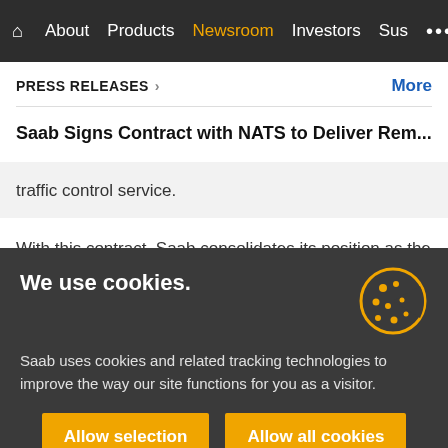Home About Products Newsroom Investors Sus ...
PRESS RELEASES > More
Saab Signs Contract with NATS to Deliver Rem...
traffic control service.
With this contract, Saab consolidates its position as the
We use cookies.

Saab uses cookies and related tracking technologies to improve the way our site functions for you as a visitor.
Allow selection  Allow all cookies

Necessary  Preferences  Show details
Statistics  Marketing